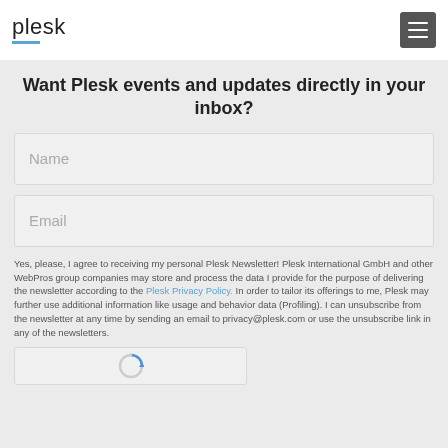plesk
Want Plesk events and updates directly in your inbox?
Name
Email
Yes, please, I agree to receiving my personal Plesk Newsletter! Plesk International GmbH and other WebPros group companies may store and process the data I provide for the purpose of delivering the newsletter according to the Plesk Privacy Policy. In order to tailor its offerings to me, Plesk may further use additional information like usage and behavior data (Profiling). I can unsubscribe from the newsletter at any time by sending an email to privacy@plesk.com or use the unsubscribe link in any of the newsletters.
[Figure (other): reCAPTCHA widget partially visible at bottom of page]